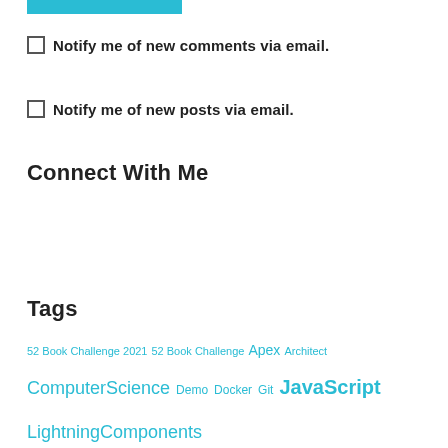[Figure (other): Teal/cyan colored bar or button graphic at top]
Notify me of new comments via email.
Notify me of new posts via email.
Connect With Me
Tags
52 Book Challenge 2021  52 Book Challenge  Apex  Architect
ComputerScience  Demo  Docker  Git  JavaScript
LightningComponents